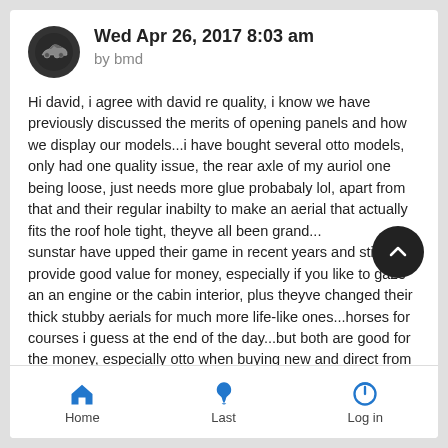Wed Apr 26, 2017 8:03 am
by bmd
Hi david, i agree with david re quality, i know we have previously discussed the merits of opening panels and how we display our models...i have bought several otto models, only had one quality issue, the rear axle of my auriol one being loose, just needs more glue probabaly lol, apart from that and their regular inabilty to make an aerial that actually fits the roof hole tight, theyve all been grand...
sunstar have upped their game in recent years and still provide good value for money, especially if you like to gaze an an engine or the cabin interior, plus theyve changed their thick stubby aerials for much more life-like ones...horses for courses i guess at the end of the day...but both are good for the money, especially otto when buying new and direct from otto...
Home  Last  Log in